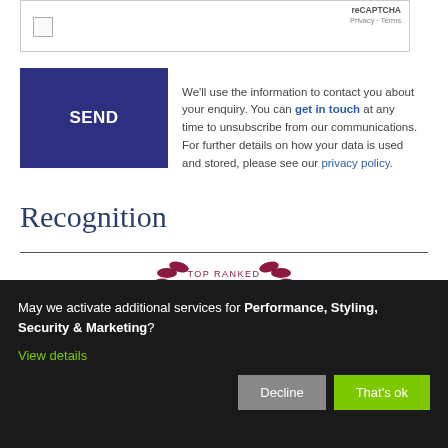[Figure (screenshot): reCAPTCHA widget box with checkbox and reCAPTCHA logo, Privacy and Terms links]
[Figure (other): Blue SEND button]
We'll use the information to contact you about your enquiry. You can get in touch at any time to unsubscribe from our communications. For further details on how your data is used and stored, please see our privacy policy.
Recognition
[Figure (logo): Chambers UK Bar 2022 Top Ranked badge - Kings Chambers]
May we activate additional services for Performance, Styling, Security & Marketing?
View details
Decline
That's ok